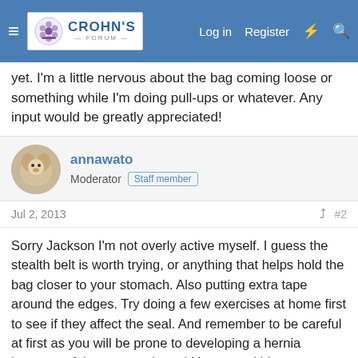Crohn's Forum — Log in  Register
yet. I'm a little nervous about the bag coming loose or something while I'm doing pull-ups or whatever. Any input would be greatly appreciated!
annawato
Moderator  Staff member
Jul 2, 2013  #2
Sorry Jackson I'm not overly active myself. I guess the stealth belt is worth trying, or anything that helps hold the bag closer to your stomach. Also putting extra tape around the edges. Try doing a few exercises at home first to see if they affect the seal. And remember to be careful at first as you will be prone to developing a hernia because of the surgery. It could be a good idea to wear a hernia belt, it will help guard against a hernia and also help keep the bag well stuck on.
Have fun.